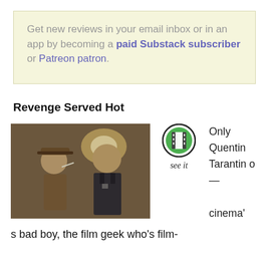Get new reviews in your email inbox or in an app by becoming a paid Substack subscriber or Patreon patron.
Revenge Served Hot
[Figure (photo): Sepia-toned film still showing two people, one in a hat smoking, another in military uniform, in a dimly lit room with a lamp]
[Figure (other): Green film reel icon in a circle with 'see it' label below]
Only Quentin Tarantino — cinema's bad boy, the film geek who's film-